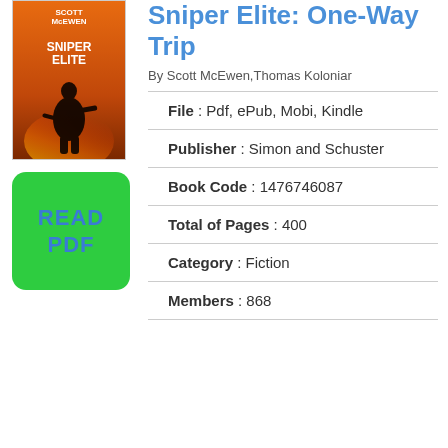[Figure (illustration): Book cover for Sniper Elite: One-Way Trip by Scott McEwen, showing a soldier silhouette against an orange background]
[Figure (other): Green rounded rectangle button with text READ PDF in blue]
Sniper Elite: One-Way Trip
By Scott McEwen,Thomas Koloniar
File : Pdf, ePub, Mobi, Kindle
Publisher : Simon and Schuster
Book Code : 1476746087
Total of Pages : 400
Category : Fiction
Members : 868